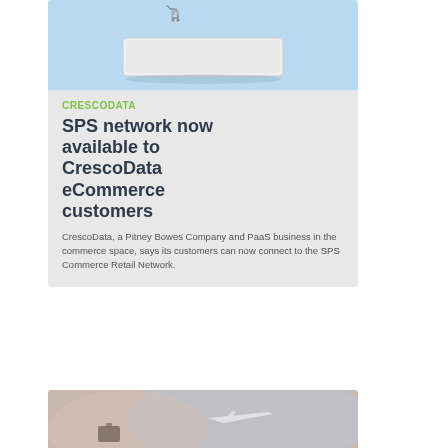[Figure (photo): Photo of a shopping cart on a white tablet device against a light blue background]
CRESCODATA
SPS network now available to CrescoData eCommerce customers
CrescoData, a Pitney Bowes Company and PaaS business in the commerce space, says its customers can now connect to the SPS Commerce Retail Network.
[Figure (photo): Photo of an airplane model and luggage/travel items with blurred background]